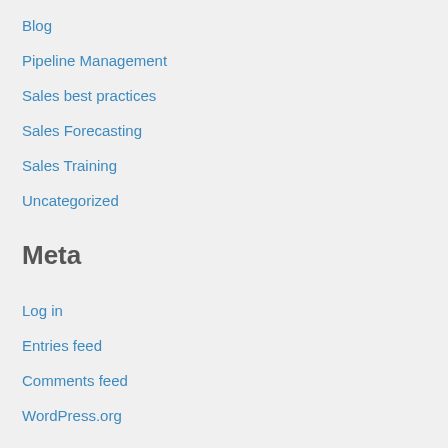Blog
Pipeline Management
Sales best practices
Sales Forecasting
Sales Training
Uncategorized
Meta
Log in
Entries feed
Comments feed
WordPress.org